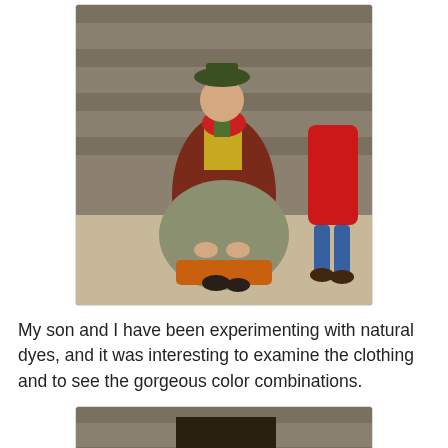[Figure (photo): A woman in historical costume sitting outdoors near a wooden building. She wears a dark green hat, red scarf, yellow top, brown coat, gray-green skirt, and orange underskirt. A child in a red coat is partially visible to the right.]
My son and I have been experimenting with natural dyes, and it was interesting to examine the clothing and to see the gorgeous color combinations.
[Figure (photo): Partial view of a person in historical costume, showing the top of a hat near a wooden structure, cropped at the bottom of the page.]